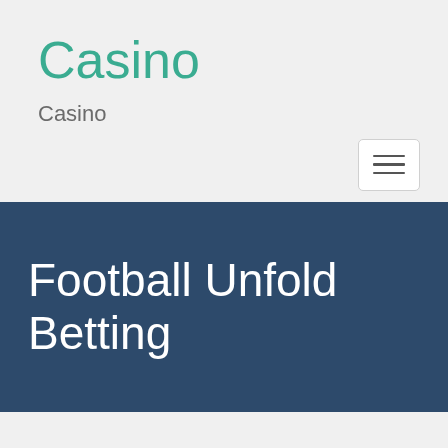Casino
Casino
[Figure (screenshot): Hamburger menu button icon with three horizontal lines]
Football Unfold Betting